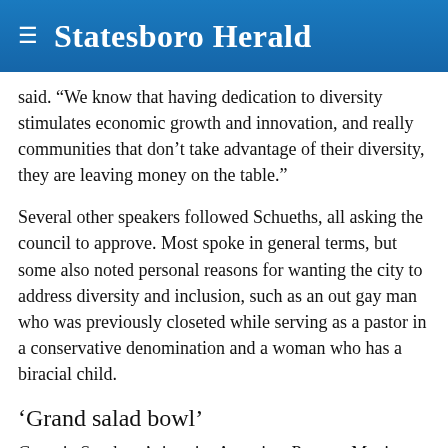Statesboro Herald
said. “We know that having dedication to diversity stimulates economic growth and innovation, and really communities that don’t take advantage of their diversity, they are leaving money on the table.”
Several other speakers followed Schueths, all asking the council to approve. Most spoke in general terms, but some also noted personal reasons for wanting the city to address diversity and inclusion, such as an out gay man who was previously closeted while serving as a pastor in a conservative denomination and a woman who has a biracial child.
‘Grand salad bowl’
Georgia Southern’s interim Associate Provost Maxine